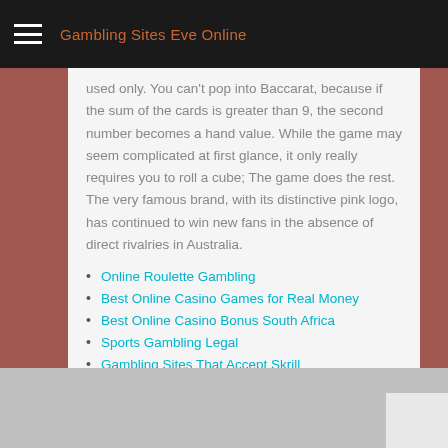Gambling Sites Eve Online
used only. You can't pop into Baccarat, because if the sum of the cards is greater than 9, the second number becomes a hand value. While the game may seem complicated at first glance, it only really requires you to roll a cube; The game does the rest. The very famous brand, with its distinctive pink logo, has continued to win new fans in the absence of direct rivalries in Australia.
Online Roulette Gambling
Best Online Casino Games for Real Money
Best Online Casino Bonus South Africa
Sports Gambling Legal
Gambling Sites That Accept Skrill
2022 New Online Casino
Gambling Sites Rules